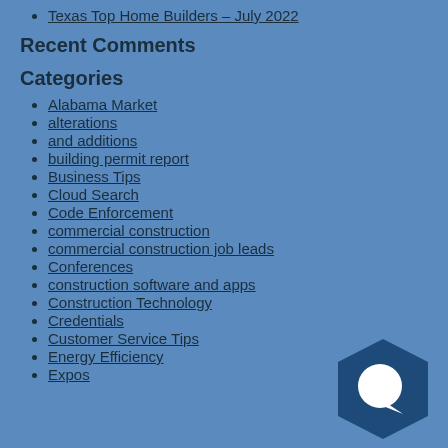Texas Top Home Builders – July 2022
Recent Comments
Categories
Alabama Market
alterations
and additions
building permit report
Business Tips
Cloud Search
Code Enforcement
commercial construction
commercial construction job leads
Conferences
construction software and apps
Construction Technology
Credentials
Customer Service Tips
Energy Efficiency
Expos
[Figure (logo): Dark blue hexagon shape with a white speech bubble/chat icon in the center, positioned in the bottom-right corner]